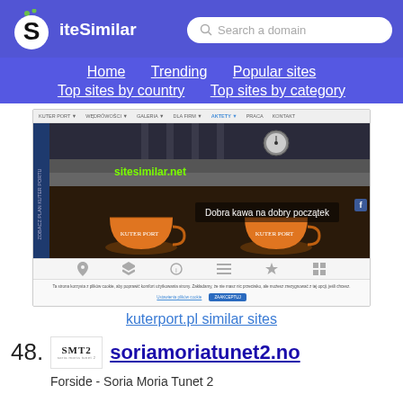[Figure (logo): SiteSimilar logo with S icon and search bar]
[Figure (screenshot): Screenshot of kuterport.pl website showing coffee cups and navigation]
kuterport.pl similar sites
48.
[Figure (logo): SMT2 logo]
soriamoriatunet2.no
Forside - Soria Moria Tunet 2